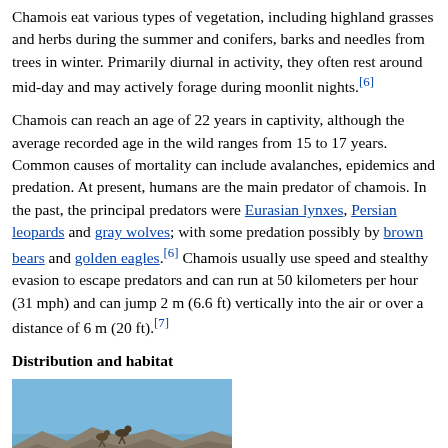Chamois eat various types of vegetation, including highland grasses and herbs during the summer and conifers, barks and needles from trees in winter. Primarily diurnal in activity, they often rest around mid-day and may actively forage during moonlit nights.[6]
Chamois can reach an age of 22 years in captivity, although the average recorded age in the wild ranges from 15 to 17 years. Common causes of mortality can include avalanches, epidemics and predation. At present, humans are the main predator of chamois. In the past, the principal predators were Eurasian lynxes, Persian leopards and gray wolves; with some predation possibly by brown bears and golden eagles.[6] Chamois usually use speed and stealthy evasion to escape predators and can run at 50 kilometers per hour (31 mph) and can jump 2 m (6.6 ft) vertically into the air or over a distance of 6 m (20 ft).[7]
Distribution and habitat
[Figure (photo): Photo of chamois on rocky terrain with blue sky background]